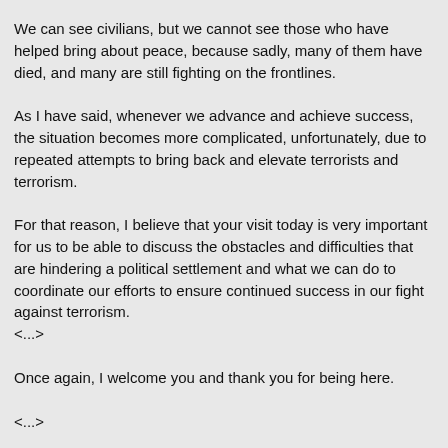We can see civilians, but we cannot see those who have helped bring about peace, because sadly, many of them have died, and many are still fighting on the frontlines.
As I have said, whenever we advance and achieve success, the situation becomes more complicated, unfortunately, due to repeated attempts to bring back and elevate terrorists and terrorism.
For that reason, I believe that your visit today is very important for us to be able to discuss the obstacles and difficulties that are hindering a political settlement and what we can do to coordinate our efforts to ensure continued success in our fight against terrorism.
<...>
Once again, I welcome you and thank you for being here.
<...>